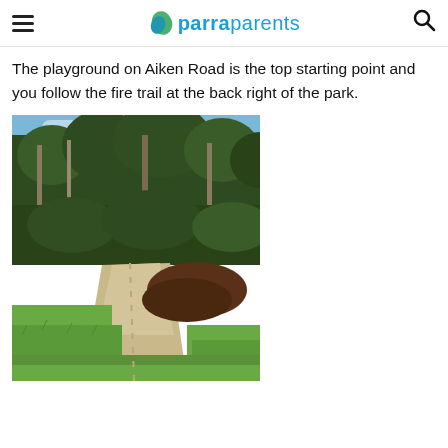parraparents
The playground on Aiken Road is the top starting point and you follow the fire trail at the back right of the park.
[Figure (photo): A fire trail path leading into a dense Australian bushland park, with green grass in the foreground and tall eucalyptus trees filling the background. A mound of dark mulch sits along the right side of the trail.]